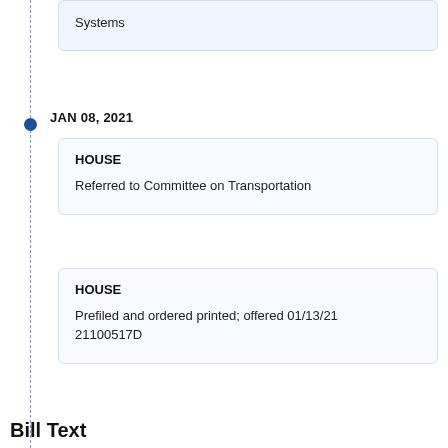Systems
JAN 08, 2021
HOUSE
Referred to Committee on Transportation
HOUSE
Prefiled and ordered printed; offered 01/13/21 21100517D
Bill Text